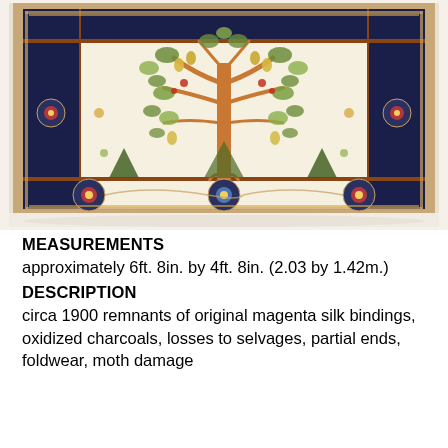[Figure (photo): Photograph of an antique Persian rug circa 1900 featuring a tree of life design on an ivory/cream field with fruit-laden branches, surrounded by a dark navy blue border with floral patterns and a rust/brown inner frame. The rug shows signs of wear and age.]
MEASUREMENTS
approximately 6ft. 8in. by 4ft. 8in. (2.03 by 1.42m.)
DESCRIPTION
circa 1900 remnants of original magenta silk bindings, oxidized charcoals, losses to selvages, partial ends, foldwear, moth damage